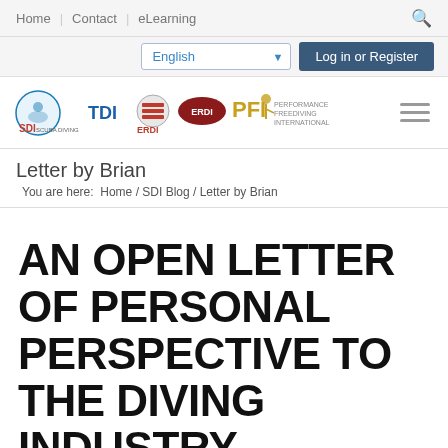Home | Contact | eLearning
English ▼
Log in or Register
[Figure (logo): SDI TDI ERDI ERDI PFI Performance Freediving International logos row]
Letter by Brian
You are here: Home / SDI Blog / Letter by Brian
AN OPEN LETTER OF PERSONAL PERSPECTIVE TO THE DIVING INDUSTRY